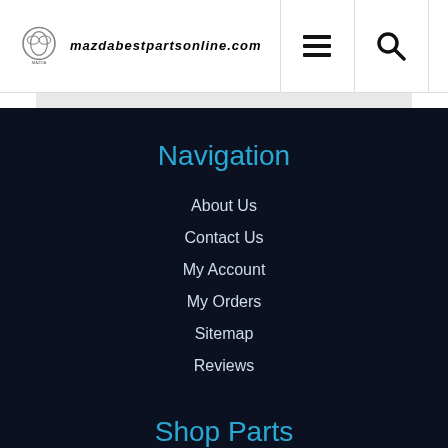mazdabestpartsonline.com
Navigation
About Us
Contact Us
My Account
My Orders
Sitemap
Reviews
Shop Parts